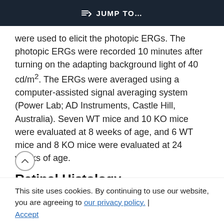JUMP TO…
were used to elicit the photopic ERGs. The photopic ERGs were recorded 10 minutes after turning on the adapting background light of 40 cd/m². The ERGs were averaged using a computer-assisted signal averaging system (Power Lab; AD Instruments, Castle Hill, Australia). Seven WT mice and 10 KO mice were evaluated at 8 weeks of age, and 6 WT mice and 8 KO mice were evaluated at 24 weeks of age.
Retinal Histology
The retinas of 3 WT mice and 3 KO mice at 8 weeks
This site uses cookies. By continuing to use our website, you are agreeing to our privacy policy.
Accept